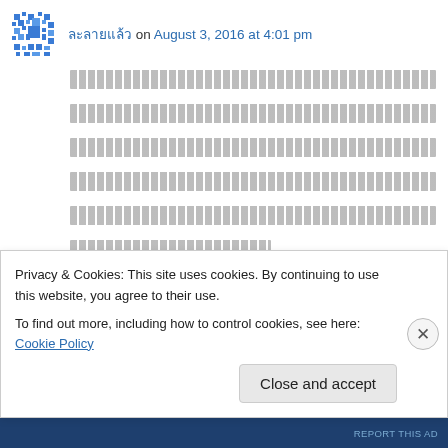ละลายแล้ว on August 3, 2016 at 4:01 pm
[Thai text content - comment body paragraphs]
↳ Reply
Privacy & Cookies: This site uses cookies. By continuing to use this website, you agree to their use.
To find out more, including how to control cookies, see here: Cookie Policy
Close and accept